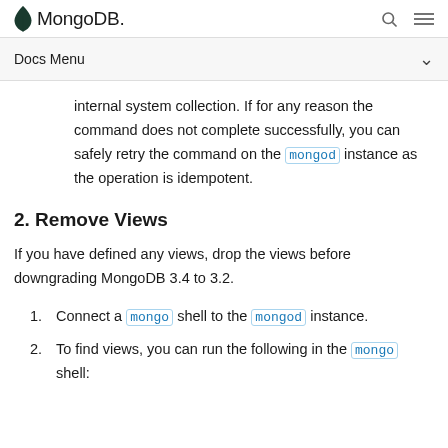MongoDB
Docs Menu
internal system collection. If for any reason the command does not complete successfully, you can safely retry the command on the mongod instance as the operation is idempotent.
2. Remove Views
If you have defined any views, drop the views before downgrading MongoDB 3.4 to 3.2.
1. Connect a mongo shell to the mongod instance.
2. To find views, you can run the following in the mongo shell: